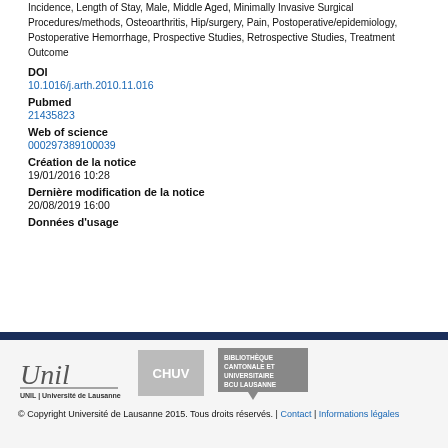Incidence, Length of Stay, Male, Middle Aged, Minimally Invasive Surgical Procedures/methods, Osteoarthritis, Hip/surgery, Pain, Postoperative/epidemiology, Postoperative Hemorrhage, Prospective Studies, Retrospective Studies, Treatment Outcome
DOI
10.1016/j.arth.2010.11.016
Pubmed
21435823
Web of science
000297389100039
Création de la notice
19/01/2016 10:28
Dernière modification de la notice
20/08/2019 16:00
Données d'usage
© Copyright Université de Lausanne 2015. Tous droits réservés. | Contact | Informations légales